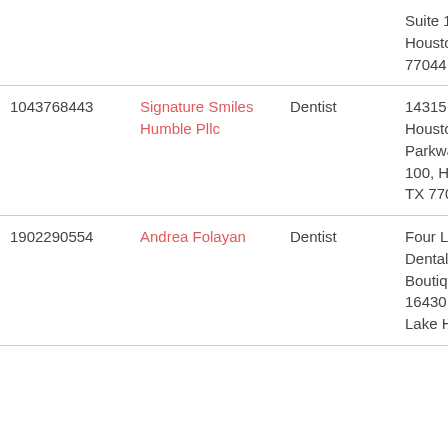| NPI | Name | Type | Address |  |
| --- | --- | --- | --- | --- |
|  |  |  | Suite 1000, Houston, TX 77044 |  |
| 1043768443 | Signature Smiles Humble Pllc | Dentist | 14315 E. Sam Houston Parkway, Suite 100, Houston, TX 77044 | 2 |
| 1902290554 | Andrea Folayan | Dentist | Four Lion Dental Boutique, 16430 West Lake Houston | 2 |